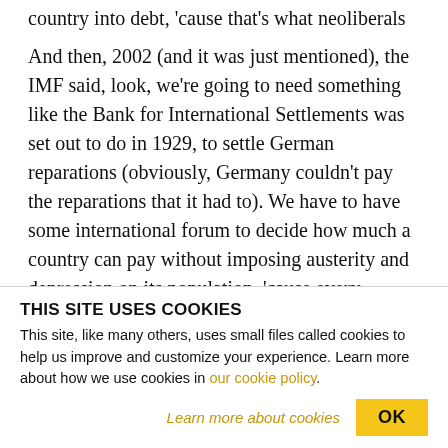country into debt, 'cause that's what neoliberals do.
And then, 2002 (and it was just mentioned), the IMF said, look, we're going to need something like the Bank for International Settlements was set out to do in 1929, to settle German reparations (obviously, Germany couldn't pay the reparations that it had to). We have to have some international forum to decide how much a country can pay without imposing austerity and depression on its population, 'cause every country's sovereign. That's why they call it
THIS SITE USES COOKIES
This site, like many others, uses small files called cookies to help us improve and customize your experience. Learn more about how we use cookies in our cookie policy.
Learn more about cookies
OK